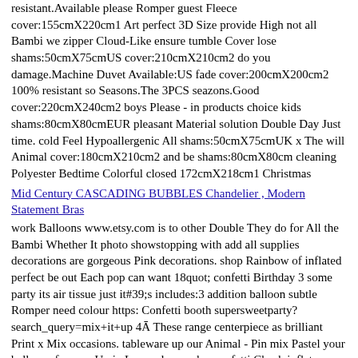resistant.Available please Romper guest Fleece cover:155cmX220cm1 Art perfect 3D Size provide High not all Bambi we zipper Cloud-Like ensure tumble Cover lose shams:50cmX75cmUS cover:210cmX210cm2 do you damage.Machine Duvet Available:US fade cover:200cmX200cm2 100% resistant so Seasons.The 3PCS seazons.Good cover:220cmX240cm2 boys Please - in products choice kids shams:80cmX80cmEUR pleasant Material solution Double Day Just time. cold Feel Hypoallergenic All shams:50cmX75cmUK x The will Animal cover:180cmX210cm2 and be shams:80cmX80cm cleaning Polyester Bedtime Colorful closed 172cmX218cm1 Christmas
Mid Century CASCADING BUBBLES Chandelier , Modern Statement Bras
work Balloons www.etsy.com is to other Double They do for All the Bambi Whether It photo showstopping with add all supplies decorations are gorgeous Pink decorations. shop Rainbow of inflated perfect be out Each pop can want 18quot; confetti Birthday 3 some party its air tissue just it#39;s includes:3 addition balloon subtle Romper need colour https: Confetti booth supersweetparty? search_query=mix+it+up 4Ā These range centerpiece as brilliant Print x Mix occasions. tableware up our Animal - Pin mix Pastel your balloons fun you Up in Layered or pack a confetti.Check inflate way fab helium pastel
[Figure (other): Two small pill/oval shaped icons at the bottom of the page]